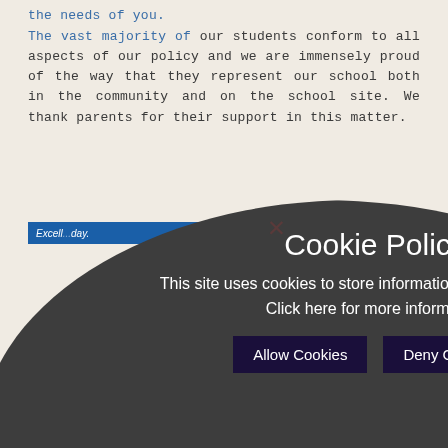the needs of you.
The vast majority of our students conform to all aspects of our policy and we are immensely proud of the way that they represent our school both in the community and on the school site. We thank parents for their support in this matter.
[Figure (screenshot): Blue banner with text 'Excell...day.' on left and '#teamchsg' on right in white italic text on blue background]
[Figure (screenshot): Cookie Policy overlay dialog with dark rounded background showing title 'Cookie Policy', body text 'This site uses cookies to store information on your computer. Click here for more information', and two buttons 'Allow Cookies' and 'Deny Cookies'. A close X button is visible at top. LinkedIn 'in' icon partially visible on right.]
[Figure (screenshot): Bottom dark purple/navy bar with exclamation mark icon and blue dotted-border box on bottom right]